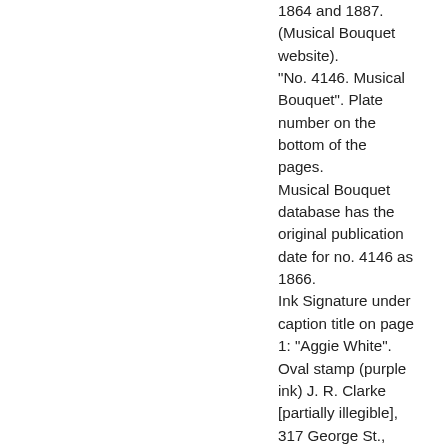1864 and 1887. (Musical Bouquet website). "No. 4146. Musical Bouquet". Plate number on the bottom of the pages. Musical Bouquet database has the original publication date for no. 4146 as 1866. Ink Signature under caption title on page 1: "Aggie White". Oval stamp (purple ink) J. R. Clarke [partially illegible], 317 George St., Sydney. Publisher and importer [of] photographs. British Library has the publication date
The siege, the dream, the rescue, compo & arrang for the piano forte by John Blockle Osborn quadril new edition compo in honour of the birth-da of Her Roya